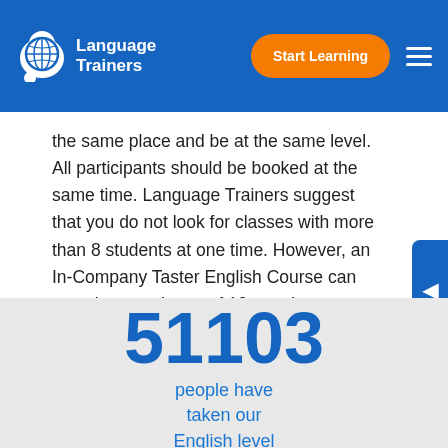Language Trainers | Start Learning
the same place and be at the same level. All participants should be booked at the same time. Language Trainers suggest that you do not look for classes with more than 8 students at one time. However, an In-Company Taster English Course can contain a maximum of 12 people.
51103
people have taken our English level